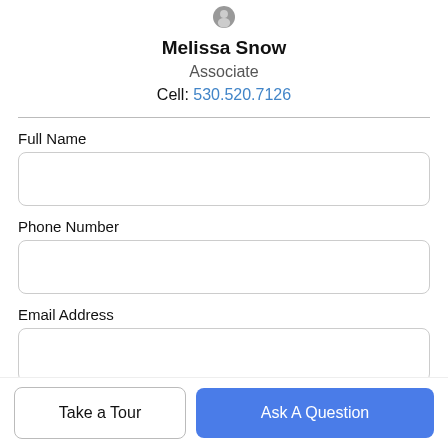[Figure (photo): Circular avatar photo of Melissa Snow, partially cropped at top]
Melissa Snow
Associate
Cell: 530.520.7126
Full Name
Phone Number
Email Address
Take a Tour
Ask A Question